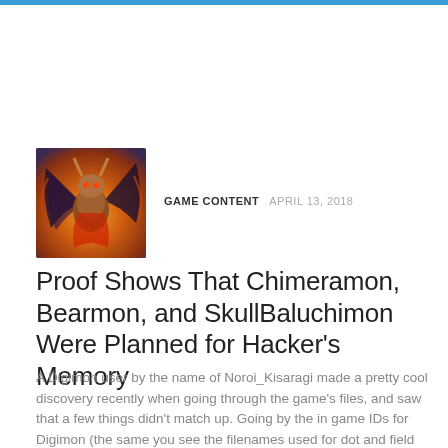[Figure (illustration): Thumbnail image of a Digimon character (winged demonic creature) with orange and dark tones]
GAME CONTENT  APRIL 13, 2018
Proof Shows That Chimeramon, Bearmon, and SkullBaluchimon Were Planned for Hacker’s Memory
A Digimon user by the name of Noroi_Kisaragi made a pretty cool discovery recently when going through the game’s files, and saw that a few things didn’t match up. Going by the in game IDs for Digimon (the same you see the filenames used for dot and field guide sprites), they found that there were model textures made for some…